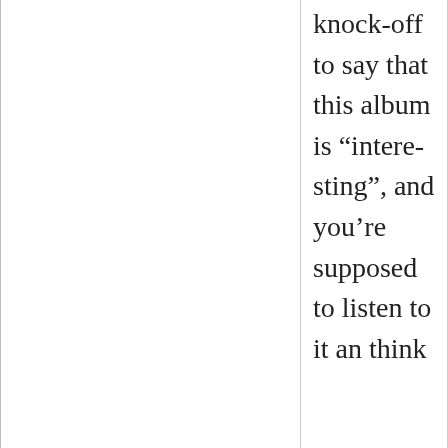knock-off to say that this album is “interesting”, and you’re supposed to listen to it an think